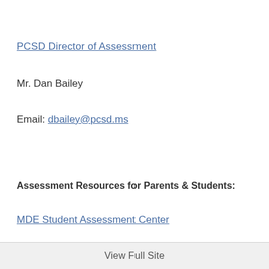PCSD Director of Assessment
Mr. Dan Bailey
Email: dbailey@pcsd.ms
Assessment Resources for Parents & Students:
MDE Student Assessment Center
View Full Site